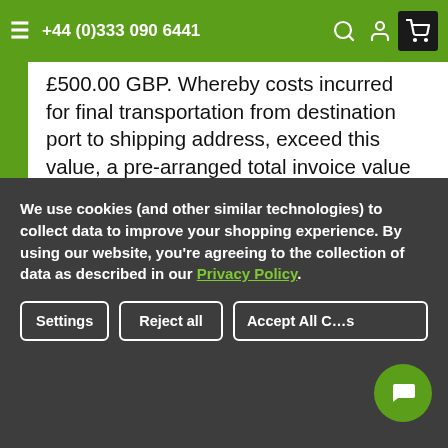+44 (0)333 090 6441
£500.00 GBP. Whereby costs incurred for final transportation from destination port to shipping address, exceed this value, a pre-arranged total invoice value will be agreed prior to order.
*1 Based on Default Retail Price, not advertised Sales Price, if applicable. Enquire at info@emgprecision.com for more details. Further Terms apply. Check out our T&C's for more details
We use cookies (and other similar technologies) to collect data to improve your shopping experience. By using our website, you're agreeing to the collection of data as described in our Privacy Policy.